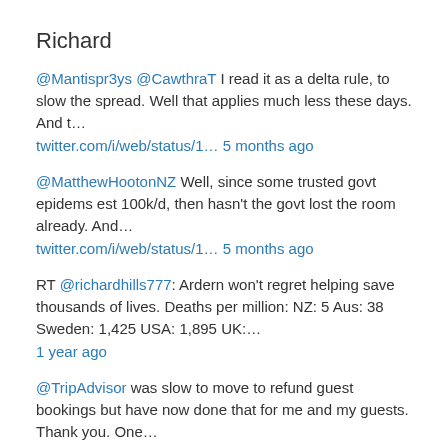Richard
@Mantispr3ys @CawthraT I read it as a delta rule, to slow the spread. Well that applies much less these days. And t… twitter.com/i/web/status/1… 5 months ago
@MatthewHootonNZ Well, since some trusted govt epidems est 100k/d, then hasn't the govt lost the room already. And… twitter.com/i/web/status/1… 5 months ago
RT @richardhills777: Ardern won't regret helping save thousands of lives. Deaths per million: NZ: 5 Aus: 38 Sweden: 1,425 USA: 1,895 UK:… 1 year ago
@TripAdvisor was slow to move to refund guest bookings but have now done that for me and my guests. Thank you. One… twitter.com/i/web/status/1… 2 years ago
Totally irresponsible of @TripAdvisor This will kill the brand and image of the company. Will you be a fatal victim of Covid-19? 2 years ago